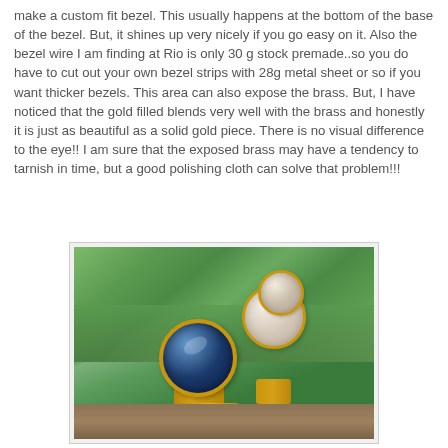make a custom fit bezel. This usually happens at the bottom of the base of the bezel. But, it shines up very nicely if you go easy on it. Also the bezel wire I am finding at Rio is only 30 g stock premade..so you do have to cut out your own bezel strips with 28g metal sheet or so if you want thicker bezels. This area can also expose the brass. But, I have noticed that the gold filled blends very well with the brass and honestly it is just as beautiful as a solid gold piece. There is no visual difference to the eye!! I am sure that the exposed brass may have a tendency to tarnish in time, but a good polishing cloth can solve that problem!!!
[Figure (photo): Photo of gold-filled rings with gemstones: one large blue faceted stone ring and two white/cream cabochon stone rings, stacked together on a wooden surface with green foliage in the background.]